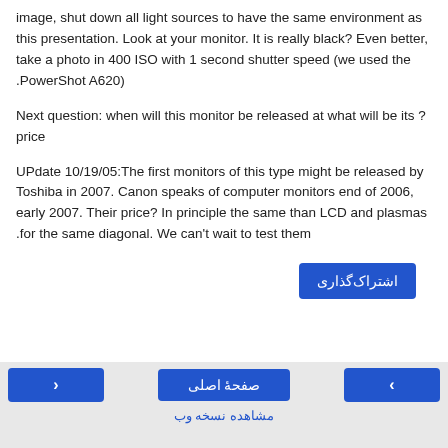image, shut down all light sources to have the same environment as this presentation. Look at your monitor. It is really black? Even better, take a photo in 400 ISO with 1 second shutter speed (we used the .PowerShot A620)
Next question: when will this monitor be released at what will be its ?price
UPdate 10/19/05:The first monitors of this type might be released by Toshiba in 2007. Canon speaks of computer monitors end of 2006, early 2007. Their price? In principle the same than LCD and plasmas .for the same diagonal. We can't wait to test them
اشتراک‌گذاری
< | صفحهٔ اصلی | > | مشاهده نسخه وب